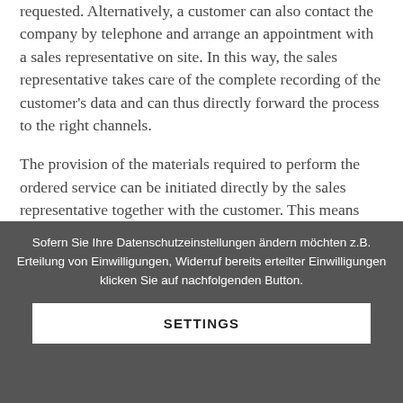requested. Alternatively, a customer can also contact the company by telephone and arrange an appointment with a sales representative on site. In this way, the sales representative takes care of the complete recording of the customer's data and can thus directly forward the process to the right channels.

The provision of the materials required to perform the ordered service can be initiated directly by the sales representative together with the customer. This means that an appointment is
Sofern Sie Ihre Datenschutzeinstellungen ändern möchten z.B. Erteilung von Einwilligungen, Widerruf bereits erteilter Einwilligungen klicken Sie auf nachfolgenden Button.
SETTINGS